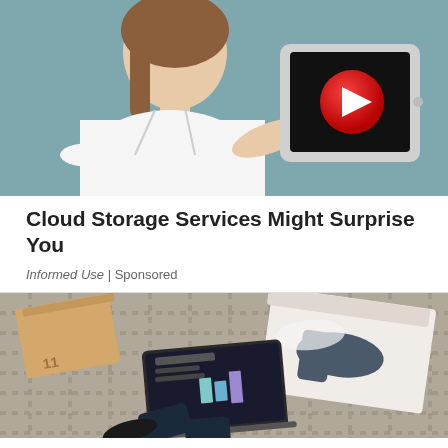[Figure (photo): Woman in white shirt pointing at a tablet showing a red play button on a dark screen, teal/grey background — advertisement image for cloud storage services]
Cloud Storage Services Might Surprise You
Informed Use | Sponsored
[Figure (photo): Top-down view of a person on a laptop surrounded by open shoeboxes with boots, brown and grey items on a woven mat — advertisement image]